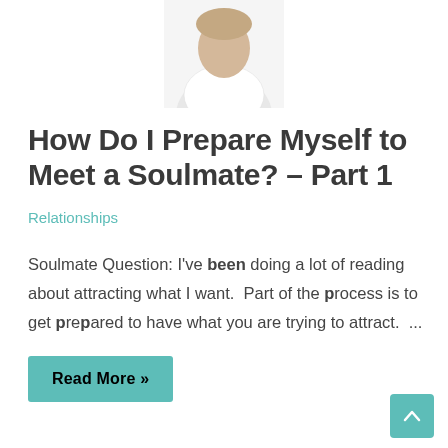[Figure (photo): Partial photo of a person in a white top, cropped at the shoulders and head, centered at the top of the page]
How Do I Prepare Myself to Meet a Soulmate? – Part 1
Relationships
Soulmate Question: I've been doing a lot of reading about attracting what I want.  Part of the process is to get prepared to have what you are trying to attract.  ...
Read More »